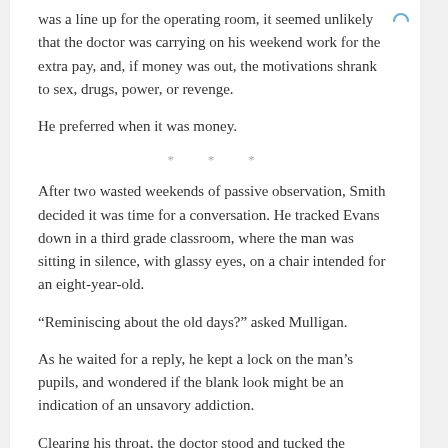was a line up for the operating room, it seemed unlikely that the doctor was carrying on his weekend work for the extra pay, and, if money was out, the motivations shrank to sex, drugs, power, or revenge.
He preferred when it was money.
* * *
After two wasted weekends of passive observation, Smith decided it was time for a conversation. He tracked Evans down in a third grade classroom, where the man was sitting in silence, with glassy eyes, on a chair intended for an eight-year-old.
“Reminiscing about the old days?” asked Mulligan.
As he waited for a reply, he kept a lock on the man’s pupils, and wondered if the blank look might be an indication of an unsavory addiction.
Clearing his throat, the doctor stood and tucked the